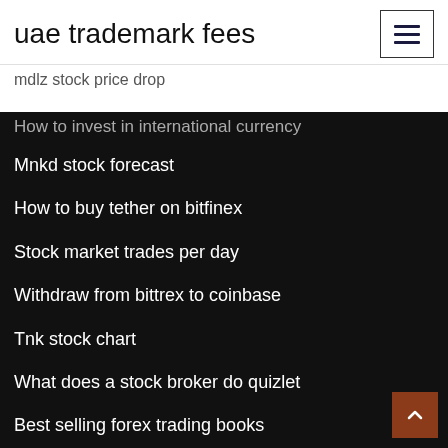uae trademark fees
mdlz stock price drop
How to invest in international currency
Mnkd stock forecast
How to buy tether on bitfinex
Stock market trades per day
Withdraw from bittrex to coinbase
Tnk stock chart
What does a stock broker do quizlet
Best selling forex trading books
Bitcoin cash sv predictions
Cryptocurrency mass adoption
Ada stock chart